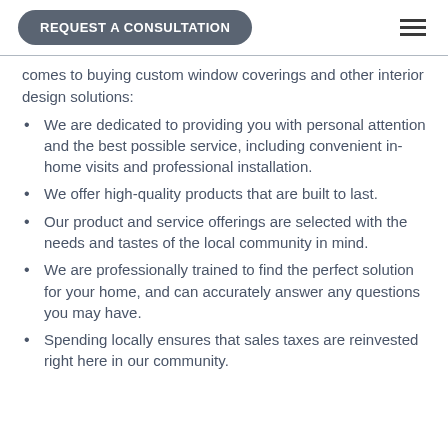REQUEST A CONSULTATION
comes to buying custom window coverings and other interior design solutions:
We are dedicated to providing you with personal attention and the best possible service, including convenient in-home visits and professional installation.
We offer high-quality products that are built to last.
Our product and service offerings are selected with the needs and tastes of the local community in mind.
We are professionally trained to find the perfect solution for your home, and can accurately answer any questions you may have.
Spending locally ensures that sales taxes are reinvested right here in our community.